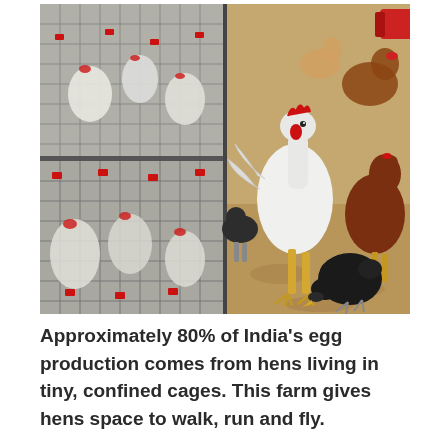[Figure (photo): Side-by-side photos: left side shows hens in small wire battery cages in a poultry farm (two stacked shots), right side shows free-range chickens of various colors (white, brown, black) walking on dirt ground with space to move.]
Approximately 80% of India's egg production comes from hens living in tiny, confined cages. This farm gives hens space to walk, run and fly.